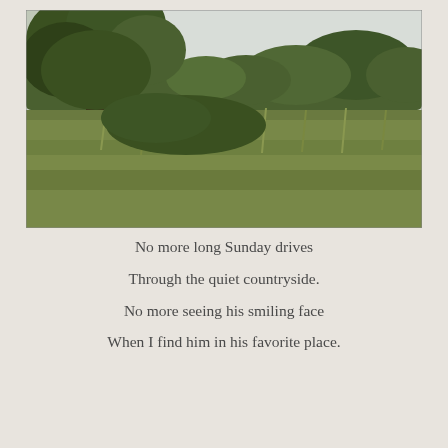[Figure (photo): Outdoor countryside photograph showing green tall grass in the foreground and trees with lush green foliage in the background against a pale sky.]
No more long Sunday drives

Through the quiet countryside.

No more seeing his smiling face

When I find him in his favorite place.